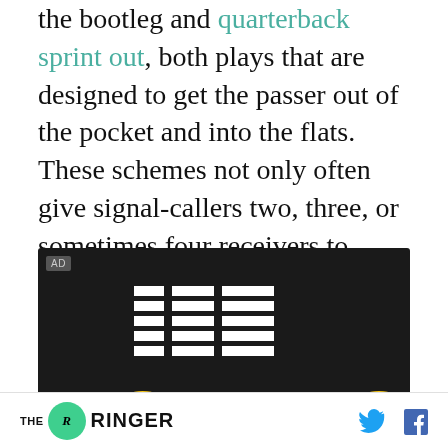the bootleg and quarterback sprint out, both plays that are designed to get the passer out of the pocket and into the flats. These schemes not only often give signal-callers two, three, or sometimes four receivers to throw to, they force the defense to treat the quarterback like a running threat, which spreads the coverage even thinner.
[Figure (other): IBM advertisement banner with dark background showing IBM striped logo and partial yellow text at bottom reading 'A SEED S' or similar]
THE RINGER [logo] [Twitter icon] [Facebook icon]